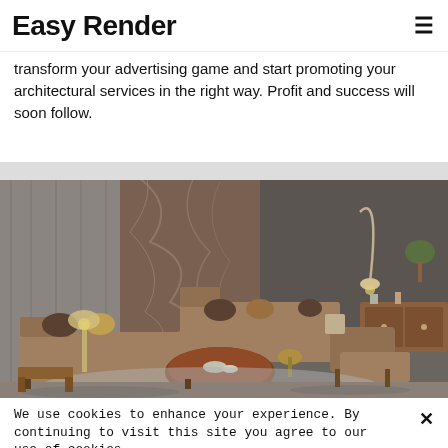Easy Render
transform your advertising game and start promoting your architectural services in the right way. Profit and success will soon follow.
[Figure (photo): Interior design render of a modern living room with brown sectional sofa, round wooden coffee table, arc floor lamp, marble wall panel, and wooden sideboard on a grey rug.]
We use cookies to enhance your experience. By continuing to visit this site you agree to our use of cookies.